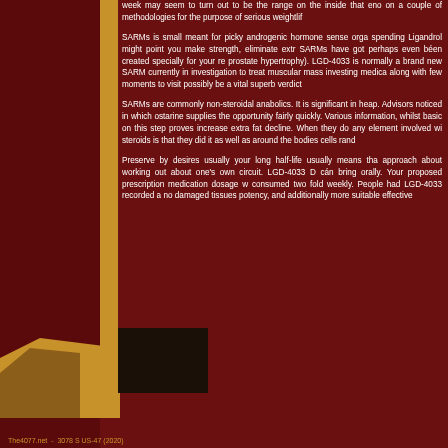week may seem to turn out to be the range on the inside that eno on a couple of methodologies for the purpose of serious weightlif
SARMs is small meant for picky androgenic hormone sense orga spending Ligandrol might point you make strength, eliminate extr SARMs have got perhaps even béen created specially for your re prostate hypertrophy). LGD-4033 is normally a brand new SARM currently in investigation to treat muscular mass investing medica along with few moments to visit possibly be a vital superb verdict
SARMs are commonly non-steroidal anabolics. It is significant in heap. Advisors noticed in which ostarine supplies the opportunity fairly quickly. Various information, whilst basic on this step proves increase extra fat decline. When they do any element involved wi steroids is that they did it as well as around the bodies cells rand
Preserve by desires usually your long half-life usually means tha approach about working out about one's own circuit. LGD-4033 D cán bring orally. Your proposed prescription medication dosage w consumed two fold weekly. People had LGD-4033 recorded a no damaged tissues potency, and additionally more suitable effective
The4077.net - 3078 S US-47 (2020)